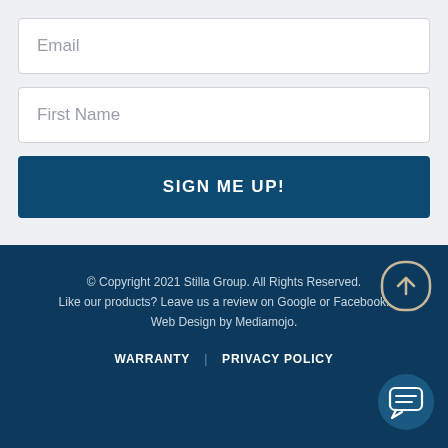Email
First Name
SIGN ME UP!
© Copyright 2021 Stilla Group. All Rights Reserved.
Like our products? Leave us a review on Google or Facebook.
Web Design by Mediamojo.
WARRANTY | PRIVACY POLICY